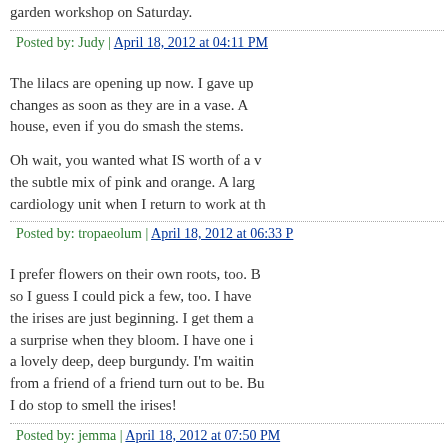garden workshop on Saturday.
Posted by: Judy | April 18, 2012 at 04:11 PM
The lilacs are opening up now. I gave up changes as soon as they are in a vase. A house, even if you do smash the stems.
Oh wait, you wanted what IS worth of a v the subtle mix of pink and orange. A larg cardiology unit when I return to work at th
Posted by: tropaeolum | April 18, 2012 at 06:33 P
I prefer flowers on their own roots, too. B so I guess I could pick a few, too. I have the irises are just beginning. I get them a a surprise when they bloom. I have one i a lovely deep, deep burgundy. I'm waitin from a friend of a friend turn out to be. B I do stop to smell the irises!
Posted by: jemma | April 18, 2012 at 07:50 PM